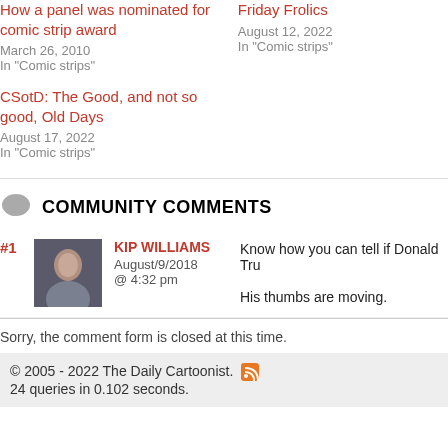How a panel was nominated for comic strip award
March 26, 2010
In "Comic strips"
Friday Frolics
August 12, 2022
In "Comic strips"
CSotD: The Good, and not so good, Old Days
August 17, 2022
In "Comic strips"
COMMUNITY COMMENTS
#1 KIP WILLIAMS August/9/2018 @ 4:32 pm — Know how you can tell if Donald Tru… His thumbs are moving.
Sorry, the comment form is closed at this time.
© 2005 - 2022 The Daily Cartoonist. 24 queries in 0.102 seconds.